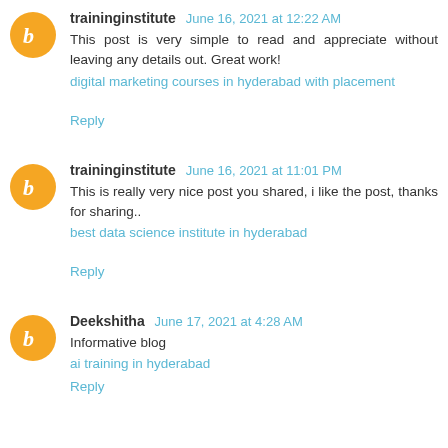traininginstitute June 16, 2021 at 12:22 AM
This post is very simple to read and appreciate without leaving any details out. Great work!
digital marketing courses in hyderabad with placement
Reply
traininginstitute June 16, 2021 at 11:01 PM
This is really very nice post you shared, i like the post, thanks for sharing..
best data science institute in hyderabad
Reply
Deekshitha June 17, 2021 at 4:28 AM
Informative blog
ai training in hyderabad
Reply